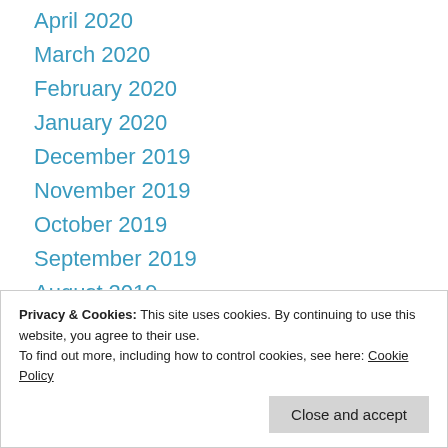April 2020
March 2020
February 2020
January 2020
December 2019
November 2019
October 2019
September 2019
August 2019
Privacy & Cookies: This site uses cookies. By continuing to use this website, you agree to their use.
To find out more, including how to control cookies, see here: Cookie Policy
March 2019